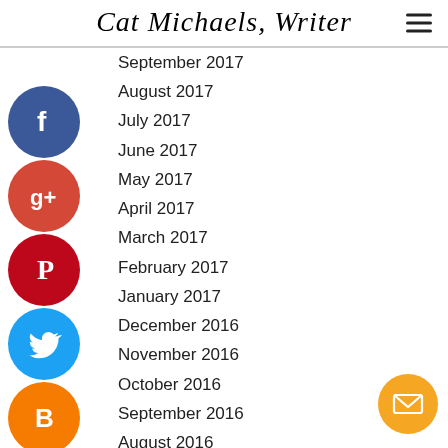Cat Michaels, Writer
September 2017
August 2017
July 2017
June 2017
May 2017
April 2017
March 2017
February 2017
January 2017
December 2016
November 2016
October 2016
September 2016
August 2016
July 2016
June 2016
May 2016
[Figure (infographic): Social media share buttons: Facebook (blue), Google+ (red), Pinterest (red), Twitter (blue), Blogger (orange), More (gray), and an email button (orange) at bottom right]